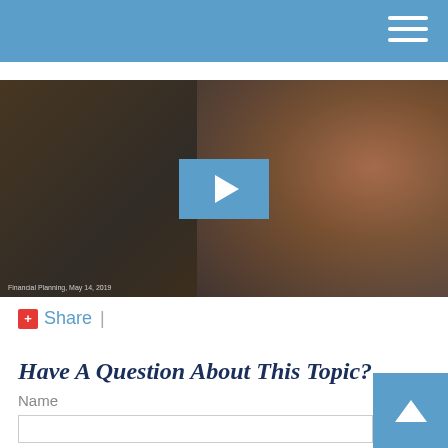[Figure (screenshot): Video thumbnail showing a woodturning lathe close-up with sawdust, a metal tool pressing against a spinning wooden object. A blue play button overlay is centered on the video. Small caption text at bottom left reads 'Financial Planning, May 14, 2019'.]
+ Share  |
Have A Question About This Topic?
Name